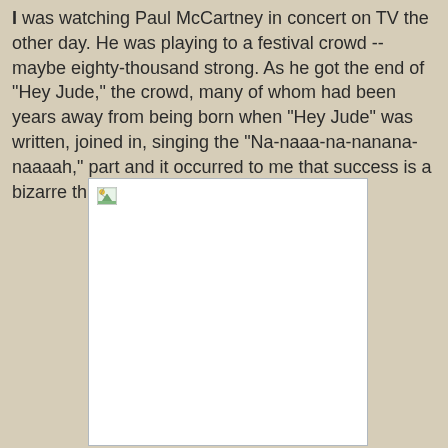I was watching Paul McCartney in concert on TV the other day. He was playing to a festival crowd -- maybe eighty-thousand strong. As he got the end of "Hey Jude," the crowd, many of whom had been years away from being born when "Hey Jude" was written, joined in, singing the "Na-naaa-na-nanana-naaaah," part and it occurred to me that success is a bizarre thing.
[Figure (photo): A broken/missing image placeholder with a small broken image icon in the top-left corner, shown as a white rectangle with a thin border on the tan/beige background.]